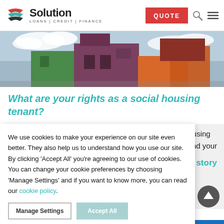Solution LOANS | CREDIT | FINANCE — QUOTE
[Figure (photo): Photo of colourful modular/container-style housing buildings (green, purple/brown, orange) against a blue sky with clouds.]
What are your rights as a social housing tenant?
or housing
erstand your
Read story
We use cookies to make your experience on our site even better. They also help us to understand how you use our site. By clicking 'Accept All' you're agreeing to our use of cookies. You can change your cookie preferences by choosing 'Manage Settings' and if you want to know more, you can read our cookie policy.
Manage Settings
Accept All